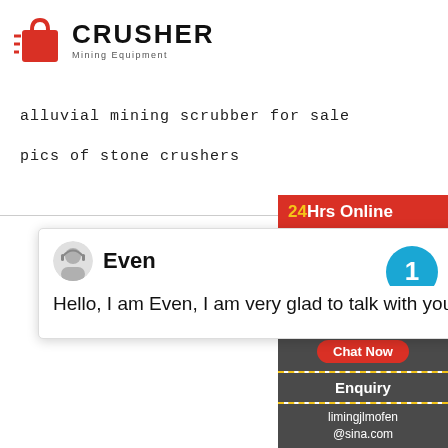[Figure (logo): Crusher Mining Equipment logo with red shopping bag icon and bold CRUSHER text]
alluvial mining scrubber for sale
pics of stone crushers
[Figure (screenshot): Chat widget popup showing agent 'Even' with message: Hello, I am Even, I am very glad to talk with you! Sidebar shows 24Hrs Online badge, customer service agent image, notification circle with 1, Need & suggestions text, Chat Now button, Enquiry link, and limingjlmofen@sina.com email.]